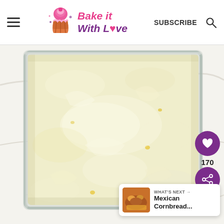Bake it With Love — SUBSCRIBE
[Figure (photo): A glass baking dish filled with creamy, pale yellow corn casserole batter, ready to be baked, on a white marble surface.]
170
WHAT'S NEXT → Mexican Cornbread...